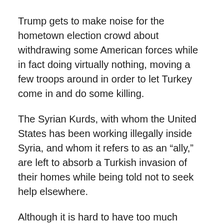Trump gets to make noise for the hometown election crowd about withdrawing some American forces while in fact doing virtually nothing, moving a few troops around in order to let Turkey come in and do some killing.
The Syrian Kurds, with whom the United States has been working illegally inside Syria, and whom it refers to as an “ally,” are left to absorb a Turkish invasion of their homes while being told not to seek help elsewhere.
Although it is hard to have too much sympathy for the Syrian Kurds because they have in fact betrayed what was their own country, Syria, by working with America to help break it up.
Such are the glorious realities of America's fight for freedom in the Middle East.